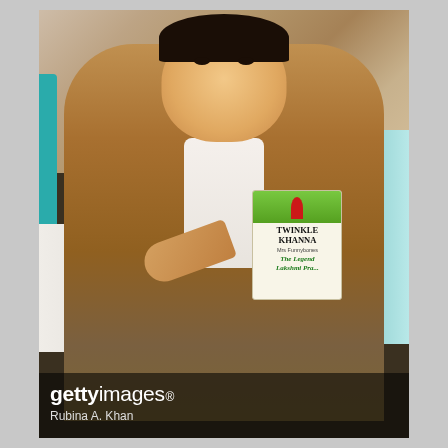[Figure (photo): A man in a brown leather jacket sitting at an event, smiling and pointing at a book he holds in his right hand. The book is titled 'The Legend of Lakshmi Prasad' by Twinkle Khanna. People are visible in the background at what appears to be an indoor event. A white chair is visible to his left. Getty Images watermark and photographer credit 'Rubina A. Khan' appear at the bottom of the image.]
gettyimages®
Rubina A. Khan